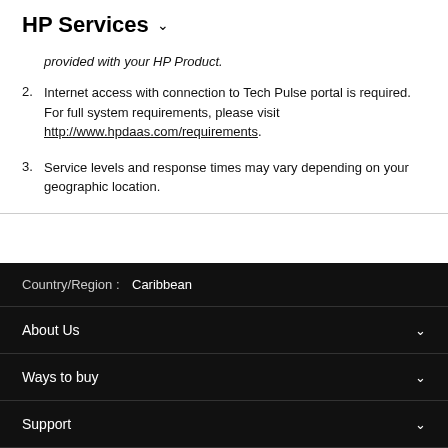HP Services
provided with your HP Product.
2. Internet access with connection to Tech Pulse portal is required. For full system requirements, please visit http://www.hpdaas.com/requirements.
3. Service levels and response times may vary depending on your geographic location.
Country/Region : Caribbean
About Us
Ways to buy
Support